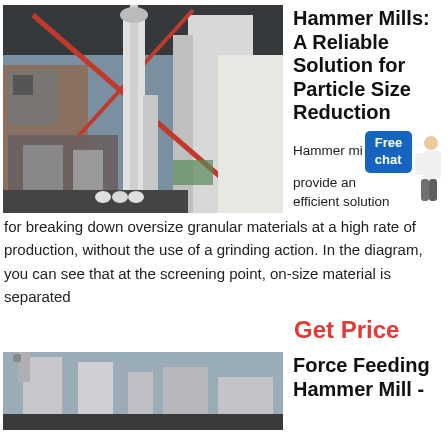[Figure (photo): Industrial hammer mill machinery facility with large silos, pipes, and red diagonal structural beams under a dark roof]
Hammer Mills: A Reliable Solution for Particle Size Reduction
Hammer mills provide an efficient solution for breaking down oversize granular materials at a high rate of production, without the use of a grinding action. In the diagram, you can see that at the screening point, on-size material is separated
Get Price
[Figure (photo): Industrial hammer mill building exterior with silos and equipment, grey sky background]
Force Feeding Hammer Mill -